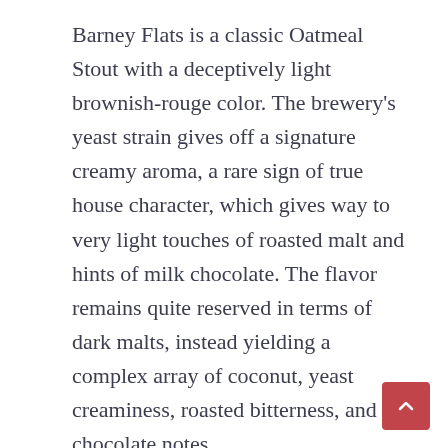Barney Flats is a classic Oatmeal Stout with a deceptively light brownish-rouge color. The brewery's yeast strain gives off a signature creamy aroma, a rare sign of true house character, which gives way to very light touches of roasted malt and hints of milk chocolate. The flavor remains quite reserved in terms of dark malts, instead yielding a complex array of coconut, yeast creaminess, roasted bitterness, and chocolate notes.
Wolaver's Oatmeal Stout
Wolaver's Brewing Company
Middlebury, Vermont
One of America's leading organic breweries,